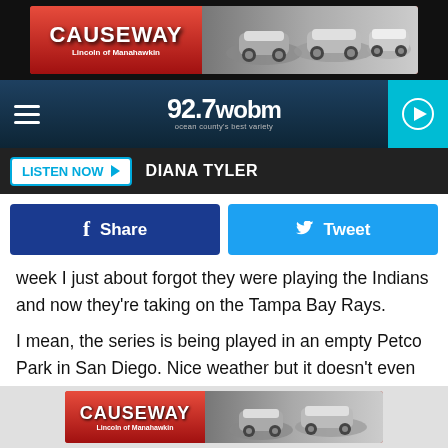[Figure (photo): Causeway Lincoln of Manahawkin advertisement banner with cars]
[Figure (logo): 92.7 WOBM radio station navigation bar with hamburger menu and play button]
LISTEN NOW  DIANA TYLER
Share  Tweet
week I just about forgot they were playing the Indians and now they're taking on the Tampa Bay Rays.
I mean,  the series is being played in an empty Petco Park in San Diego. Nice weather but it doesn't even come close to feeling like playoff baseball.
Plus I guess I have mellowed as the years have gone by.  We
[Figure (photo): Causeway Lincoln of Manahawkin advertisement banner at bottom]